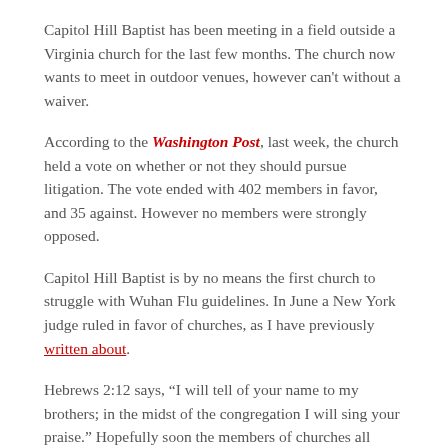Capitol Hill Baptist has been meeting in a field outside a Virginia church for the last few months. The church now wants to meet in outdoor venues, however can't without a waiver.
According to the Washington Post, last week, the church held a vote on whether or not they should pursue litigation. The vote ended with 402 members in favor, and 35 against. However no members were strongly opposed.
Capitol Hill Baptist is by no means the first church to struggle with Wuhan Flu guidelines. In June a New York judge ruled in favor of churches, as I have previously written about.
Hebrews 2:12 says, “I will tell of your name to my brothers; in the midst of the congregation I will sing your praise.” Hopefully soon the members of churches all across America will be able to meet safely in person, without having to praise over Zoom.